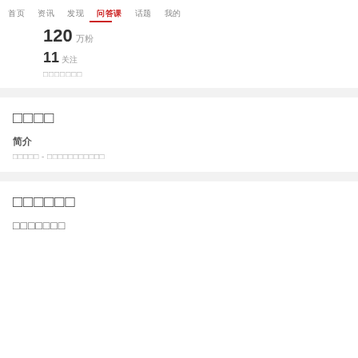首页 资讯 发现 问答课 话题 我的
120 万粉
11 关注
□□□□□□□
□□□□
简介
□□□□□ - □□□□□□□□□□□
□□□□□□
□□□□□□□